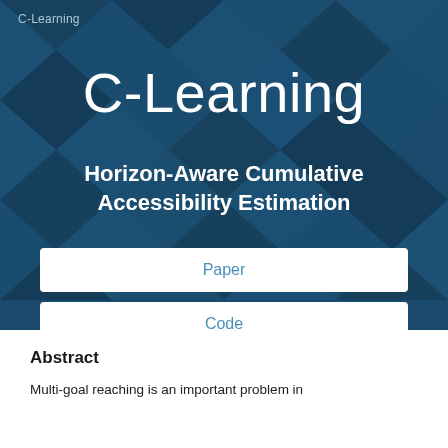C-Learning
C-Learning
Horizon-Aware Cumulative Accessibility Estimation
Paper
Code
Abstract
Multi-goal reaching is an important problem in